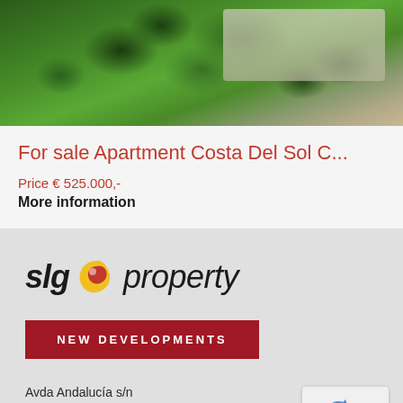[Figure (photo): Aerial view of a residential development surrounded by dense green trees/vegetation, with building rooftops visible in the background]
For sale Apartment Costa Del Sol C...
Price € 525.000,-
More information
[Figure (logo): SLG Property logo with stylized circular icon in red and yellow, italic text reading 'slg property']
NEW DEVELOPMENTS
Avda Andalucía s/n
29604 Marbesa - Marbella
Málaga - SPAIN